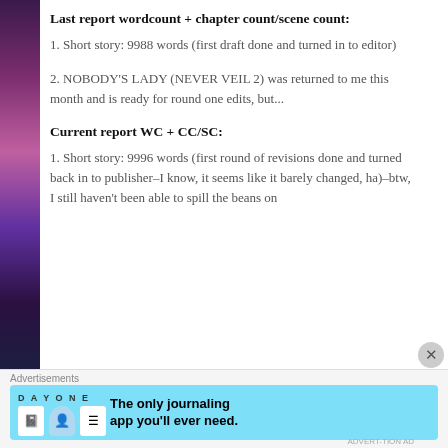Last report wordcount + chapter count/scene count:
1. Short story: 9988 words (first draft done and turned in to editor)
2. NOBODY'S LADY (NEVER VEIL 2) was returned to me this month and is ready for round one edits, but...
Current report WC + CC/SC:
1. Short story: 9996 words (first round of revisions done and turned back in to publisher–I know, it seems like it barely changed, ha)–btw, I still haven't been able to spill the beans on
Advertisements
[Figure (screenshot): Day One journaling app advertisement banner with light blue background showing app icons and text 'The only journaling app you'll ever need.']